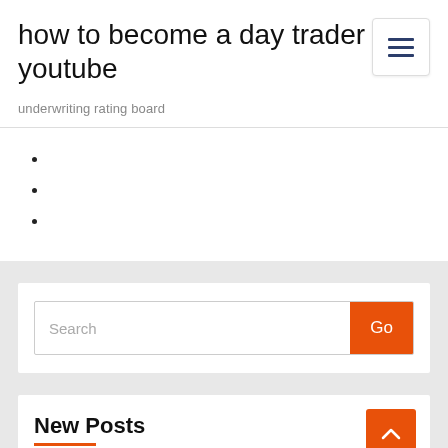how to become a day trader youtube
underwriting rating board
Search
New Posts